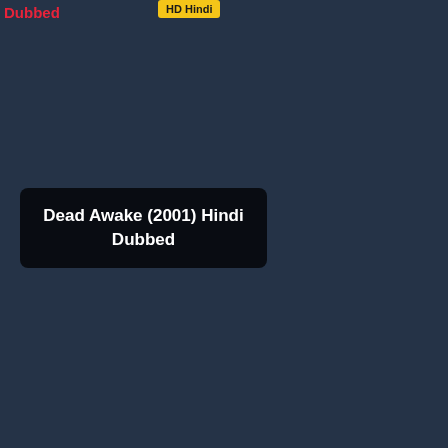Dubbed
[Figure (other): Yellow badge/tag with text 'HD Hindi']
Dead Awake (2001) Hindi Dubbed